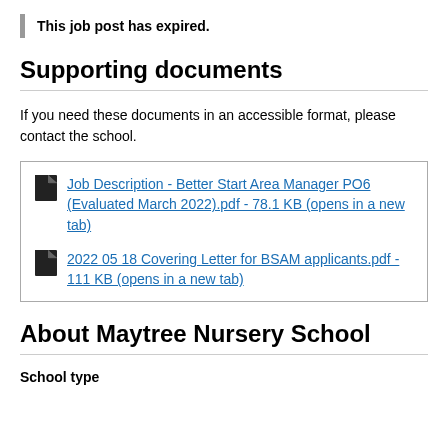This job post has expired.
Supporting documents
If you need these documents in an accessible format, please contact the school.
Job Description - Better Start Area Manager PO6 (Evaluated March 2022).pdf - 78.1 KB (opens in a new tab)
2022 05 18 Covering Letter for BSAM applicants.pdf - 111 KB (opens in a new tab)
About Maytree Nursery School
School type